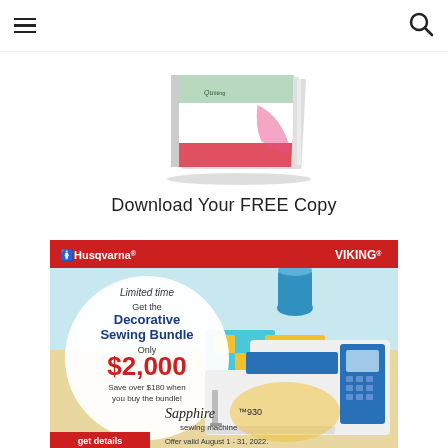Navigation bar with hamburger menu and search icon
[Figure (photo): A partially visible quilting/sewing book cover shown at an angle, with colorful quilt patterns visible on the cover against a white background.]
Download Your FREE Copy
[Figure (advertisement): Husqvarna Viking advertisement. Red header bar with 'Husqvarna' logo on left and 'VIKING' on right. Background shows colorful quilted table runners and decorative items on a table. A circular white overlay on the left reads: 'Limited time Get the Decorative Sewing Bundle Only $2,000 Save over $180 when you buy the bundle!' The right side shows a Husqvarna Viking Sapphire 930 sewing machine (white with blue accents). Script text reads 'Sapphire 930 sewing machine'. A red bar at the bottom left says 'get details'. Bottom right text: 'Offer valid August 1 - 31, 2022.']